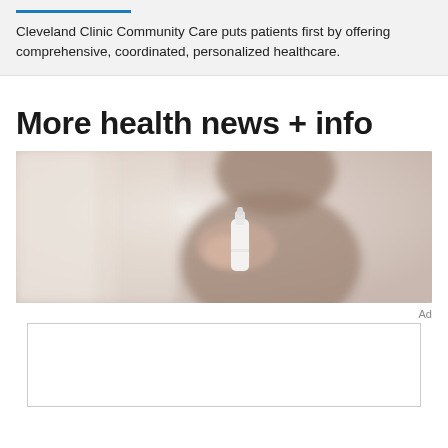Cleveland Clinic Community Care puts patients first by offering comprehensive, coordinated, personalized healthcare.
More health news + info
[Figure (photo): A woman holding a nasal spray bottle up toward her face, blurred background]
Ad
[Figure (other): Advertisement placeholder box (empty white rectangle with border)]